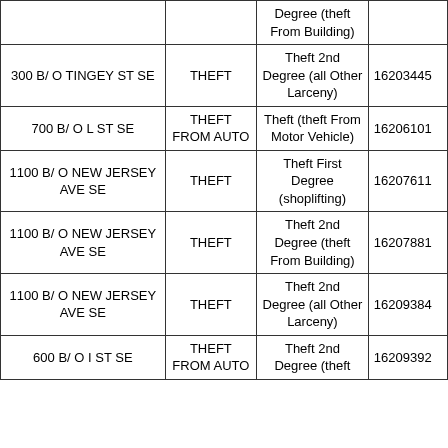| Address | Offense | Charge | CCN |
| --- | --- | --- | --- |
|  |  | Degree (theft From Building) |  |
| 300 B/ O TINGEY ST SE | THEFT | Theft 2nd Degree (all Other Larceny) | 16203445 |
| 700 B/ O L ST SE | THEFT FROM AUTO | Theft (theft From Motor Vehicle) | 16206101 |
| 1100 B/ O NEW JERSEY AVE SE | THEFT | Theft First Degree (shoplifting) | 16207611 |
| 1100 B/ O NEW JERSEY AVE SE | THEFT | Theft 2nd Degree (theft From Building) | 16207881 |
| 1100 B/ O NEW JERSEY AVE SE | THEFT | Theft 2nd Degree (all Other Larceny) | 16209384 |
| 600 B/ O I ST SE | THEFT FROM AUTO | Theft 2nd Degree (theft | 16209392 |